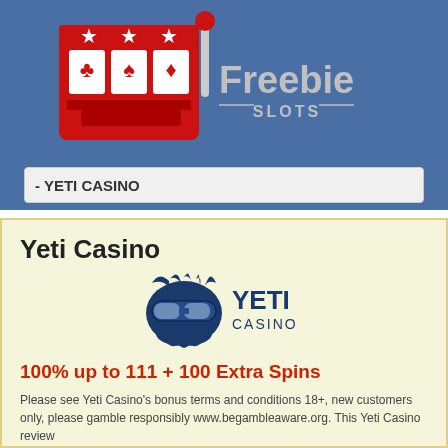[Figure (logo): Freebie Slots logo: red slot machine icon with card suit symbols and stars, next to 'Freebie SLOTS' text in gray on blue background]
- YETI CASINO
Yeti Casino
[Figure (logo): Yeti Casino logo: blue yeti face with goggles and fur, next to 'YETI CASINO' text in dark blue]
100% up to 111 + 100 Extra Spins
Please see Yeti Casino's bonus terms and conditions 18+, new customers only, please gamble responsibly www.begambleaware.org. This Yeti Casino review